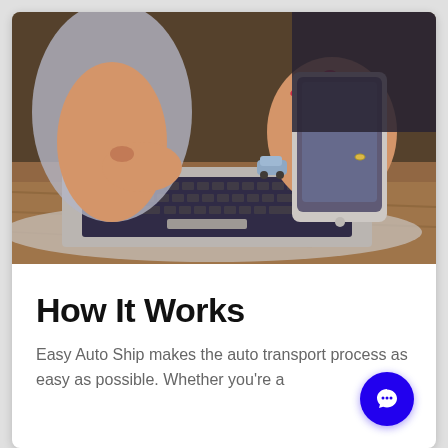[Figure (photo): A person holding a smartphone over a laptop keyboard on a wooden desk, with a small toy car visible. The photo has a warm, slightly vintage color tone.]
How It Works
Easy Auto Ship makes the auto transport process as easy as possible. Whether you're a